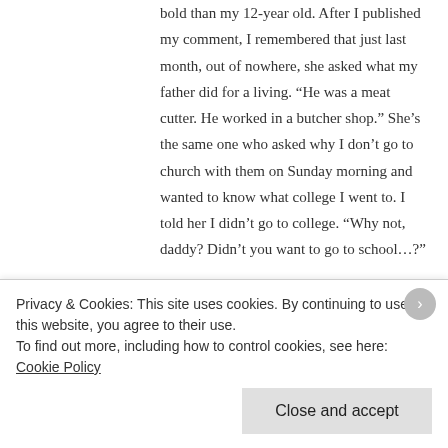bold than my 12-year old. After I published my comment, I remembered that just last month, out of nowhere, she asked what my father did for a living. “He was a meat cutter. He worked in a butcher shop.” She’s the same one who asked why I don’t go to church with them on Sunday morning and wanted to know what college I went to. I told her I didn’t go to college. “Why not, daddy? Didn’t you want to go to school…?”
★ Like
Le Clown  November 7, 2013 at 12:31 pm
Privacy & Cookies: This site uses cookies. By continuing to use this website, you agree to their use.
To find out more, including how to control cookies, see here: Cookie Policy
Close and accept